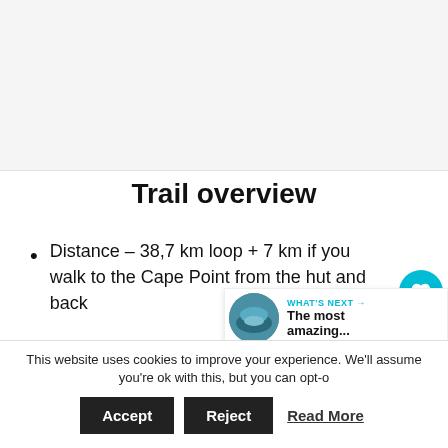[Figure (photo): Image placeholder area at top of page, light gray background]
Trail overview
Distance – 38,7 km loop + 7 km if you walk to the Cape Point from the hut and back
This website uses cookies to improve your experience. We'll assume you're ok with this, but you can opt-o...